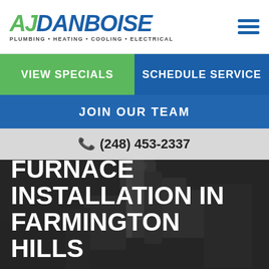AJ DANBOISE PLUMBING · HEATING · COOLING · ELECTRICAL
VIEW SPECIALS
SCHEDULE SERVICE
JOIN OUR TEAM
(248) 453-2337
[Figure (photo): Background photo of furnace/HVAC equipment in a utility room]
FURNACE INSTALLATION IN FARMINGTON HILLS